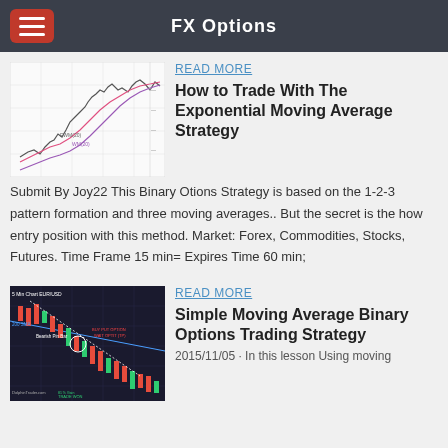FX Options
[Figure (screenshot): Financial chart showing exponential moving averages on a price chart]
How to Trade With The Exponential Moving Average Strategy
READ MORE
Submit By Joy22 This Binary Otions Strategy is based on the 1-2-3 pattern formation and three moving averages.. But the secret is the how entry position with this method. Market: Forex, Commodities, Stocks, Futures. Time Frame 15 min= Expires Time 60 min;
[Figure (screenshot): 5 Min Chart EUR/USD showing Bearish Pin Bar and Buy Put Option signal with 200 SMA, DolphinTrader.com]
Simple Moving Average Binary Options Trading Strategy
READ MORE
2015/11/05 · In this lesson Using moving